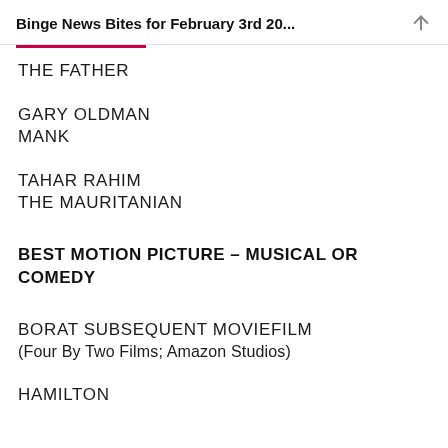Binge News Bites for February 3rd 20...
THE FATHER
GARY OLDMAN
MANK
TAHAR RAHIM
THE MAURITANIAN
BEST MOTION PICTURE – MUSICAL OR COMEDY
BORAT SUBSEQUENT MOVIEFILM
(Four By Two Films; Amazon Studios)
HAMILTON